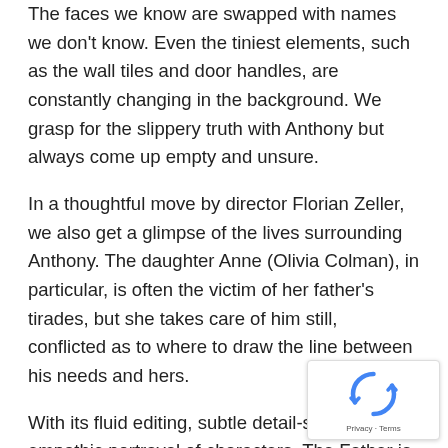The faces we know are swapped with names we don't know. Even the tiniest elements, such as the wall tiles and door handles, are constantly changing in the background. We grasp for the slippery truth with Anthony but always come up empty and unsure.
In a thoughtful move by director Florian Zeller, we also get a glimpse of the lives surrounding Anthony. The daughter Anne (Olivia Colman), in particular, is often the victim of her father's tirades, but she takes care of him still, conflicted as to where to draw the line between his needs and hers.
With its fluid editing, subtle detail-swaps, and empathic portrayal of characters, The Father is just as technically impressive as it is movingly kind.
[Figure (other): reCAPTCHA badge with spinning arrows logo and Privacy/Terms links]